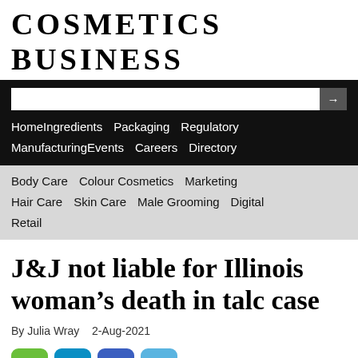COSMETICS BUSINESS
Home  Ingredients  Packaging  Regulatory  Manufacturing  Events  Careers  Directory
Body Care  Colour Cosmetics  Marketing  Hair Care  Skin Care  Male Grooming  Digital  Retail
J&J not liable for Illinois woman’s death in talc case
By Julia Wray  2-Aug-2021
[Figure (infographic): Social sharing buttons: share (green), LinkedIn (blue), Facebook (dark blue), Twitter (light blue)]